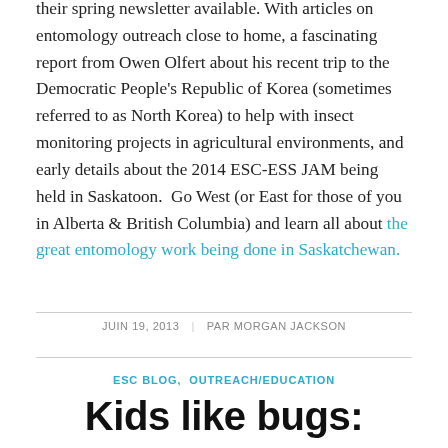their spring newsletter available. With articles on entomology outreach close to home, a fascinating report from Owen Olfert about his recent trip to the Democratic People's Republic of Korea (sometimes referred to as North Korea) to help with insect monitoring projects in agricultural environments, and early details about the 2014 ESC-ESS JAM being held in Saskatoon.  Go West (or East for those of you in Alberta & British Columbia) and learn all about the great entomology work being done in Saskatchewan.
JUIN 19, 2013 | PAR MORGAN JACKSON
ESC BLOG, OUTREACH/EDUCATION
Kids like bugs: